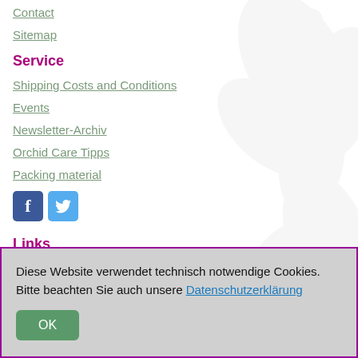Contact
Sitemap
Service
Shipping Costs and Conditions
Events
Newsletter-Archiv
Orchid Care Tipps
Packing material
[Figure (illustration): Facebook and Twitter social media icons]
Links
www.vdob.de
Diese Website verwendet technisch notwendige Cookies. Bitte beachten Sie auch unsere Datenschutzerklärung
OK